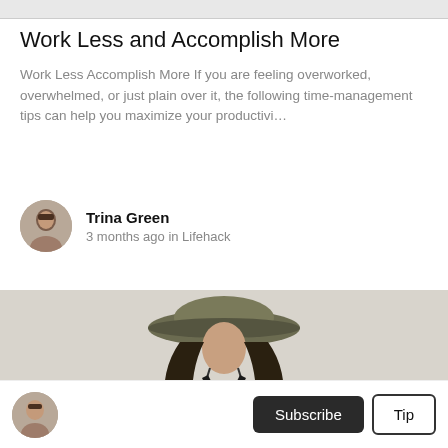Work Less and Accomplish More
Work Less Accomplish More If you are feeling overworked, overwhelmed, or just plain over it, the following time-management tips can help you maximize your productivi…
Trina Green
3 months ago in Lifehack
[Figure (photo): Woman wearing a wide-brim hat and black tank top, standing with hands on hips against a neutral background]
Subscribe | Tip